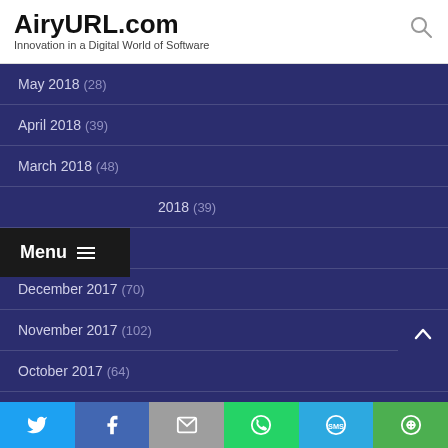AiryURL.com — Innovation in a Digital World of Software
May 2018 (28)
April 2018 (39)
March 2018 (48)
February 2018 (39)
January 2018 (30)
December 2017 (70)
November 2017 (102)
October 2017 (64)
September 2017 (51)